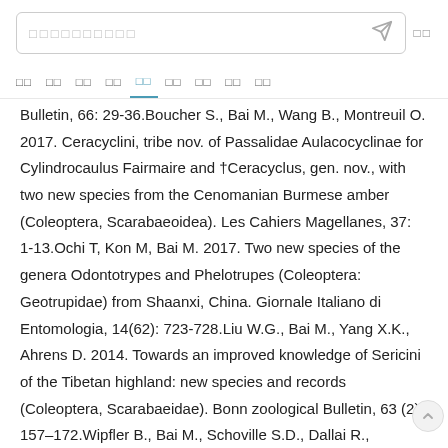搜索框占位符文字
导航栏: 推荐 关注 视频 图片 问答 财经 娱乐 科技 体育
Bulletin, 66: 29-36.Boucher S., Bai M., Wang B., Montreuil O. 2017. Ceracyclini, tribe nov. of Passalidae Aulacocyclinae for Cylindrocaulus Fairmaire and †Ceracyclus, gen. nov., with two new species from the Cenomanian Burmese amber (Coleoptera, Scarabaeoidea). Les Cahiers Magellanes, 37: 1-13.Ochi T, Kon M, Bai M. 2017. Two new species of the genera Odontotrypes and Phelotrupes (Coleoptera: Geotrupidae) from Shaanxi, China. Giornale Italiano di Entomologia, 14(62): 723-728.Liu W.G., Bai M., Yang X.K., Ahrens D. 2014. Towards an improved knowledge of Sericini of the Tibetan highland: new species and records (Coleoptera, Scarabaeidae). Bonn zoological Bulletin, 63 (2): 157–172.Wipfler B., Bai M., Schoville S.D., Dallai R., Machida R., Cui Y.Y., Beutel R.G. 2014. Ice Crawlers (Grylloblattodea) – the history of the investigation of a highly